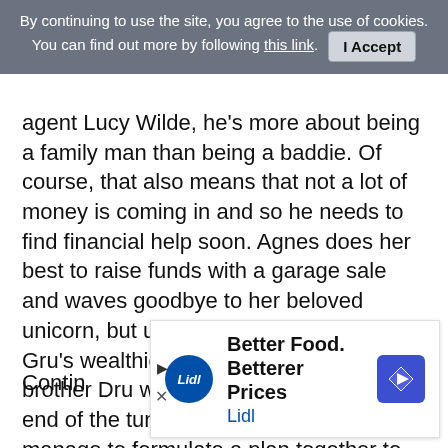By continuing to use the site, you agree to the use of cookies. You can find out more by following this link.   I Accept
agent Lucy Wilde, he's more about being a family man than being a baddie. Of course, that also means that not a lot of money is coming in and so he needs to find financial help soon. Agnes does her best to raise funds with a garage sale and waves goodbye to her beloved unicorn, but ultimately it's the arrival of Gru's wealthier and blonder long-lost brother Dru who provides a light at the end of the tunnel. With his money, they manage to formulate a plan together to take down a criminal diamond thief named Balthazar Bratt - who happens to not be hard to find given that he's a flamboyant former 80s movie star. Meanwhile, the Minions are growing angry that their master no longer
Contin
[Figure (other): Lidl advertisement banner: Better Food. Betterer Prices - Lidl logo and navigation icon]